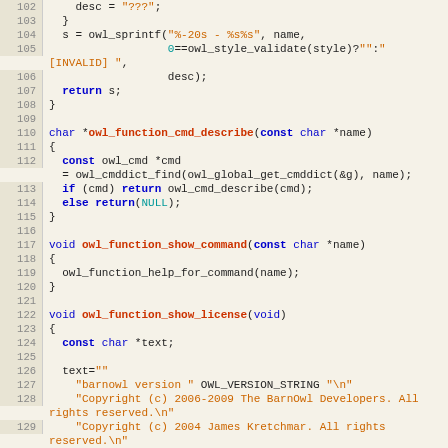[Figure (screenshot): Source code listing in C, lines 102-130, showing functions owl_function_cmd_describe and owl_function_show_command and owl_function_show_license with syntax highlighting on a tan/beige background]